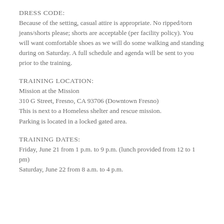DRESS CODE:
Because of the setting, casual attire is appropriate. No ripped/torn jeans/shorts please; shorts are acceptable (per facility policy). You will want comfortable shoes as we will do some walking and standing during on Saturday. A full schedule and agenda will be sent to you prior to the training.
TRAINING LOCATION:
Mission at the Mission
310 G Street, Fresno, CA 93706 (Downtown Fresno)
This is next to a Homeless shelter and rescue mission.
Parking is located in a locked gated area.
TRAINING DATES:
Friday, June 21 from 1 p.m. to 9 p.m. (lunch provided from 12 to 1 pm)
Saturday, June 22 from 8 a.m. to 4 p.m.